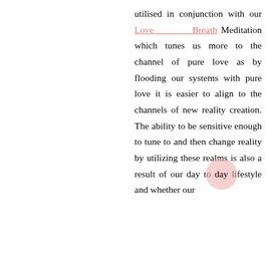utilised in conjunction with our Love Breath Meditation which tunes us more to the channel of pure love as by flooding our systems with pure love it is easier to align to the channels of new reality creation. The ability to be sensitive enough to tune to and then change reality by utilizing these realms is also a result of our day to day lifestyle and whether our